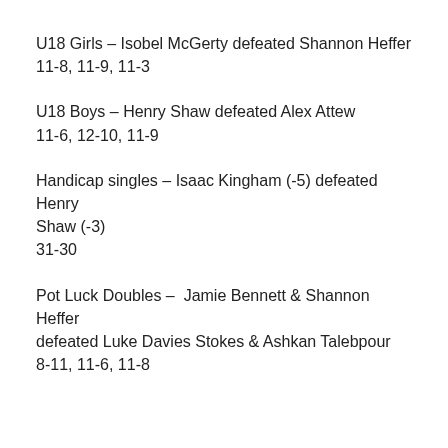U18 Girls – Isobel McGerty defeated Shannon Heffer 11-8, 11-9, 11-3
U18 Boys – Henry Shaw defeated Alex Attew 11-6, 12-10, 11-9
Handicap singles – Isaac Kingham (-5) defeated Henry Shaw (-3) 31-30
Pot Luck Doubles – Jamie Bennett & Shannon Heffer defeated Luke Davies Stokes & Ashkan Talebpour 8-11, 11-6, 11-8